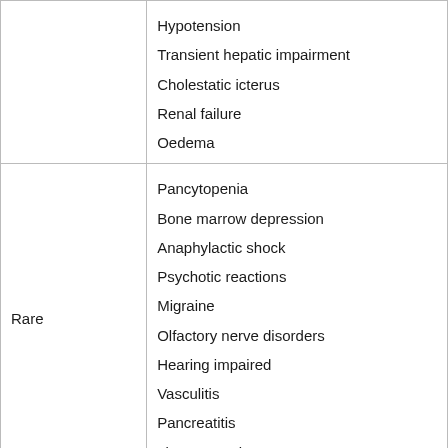| Frequency | Adverse Effects |
| --- | --- |
|  | Hypotension
Transient hepatic impairment
Cholestatic icterus
Renal failure
Oedema |
| Rare | Pancytopenia
Bone marrow depression
Anaphylactic shock
Psychotic reactions
Migraine
Olfactory nerve disorders
Hearing impaired
Vasculitis
Pancreatitis
Liver necrosis |